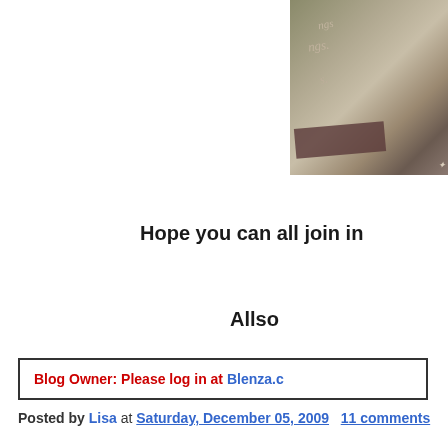[Figure (photo): Partial view of a decorative collage or scrapbook image with layered papers, embossed textures, and a dark purple/maroon ribbon or band element. Text fragments visible include cursive lettering.]
Hope you can all join in
Allso
Blog Owner: Please log in at Blenza.c
Posted by Lisa at Saturday, December 05, 2009   11 comments